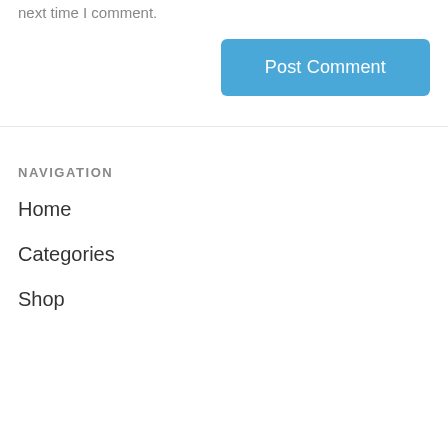next time I comment.
Post Comment
NAVIGATION
Home
Categories
Shop